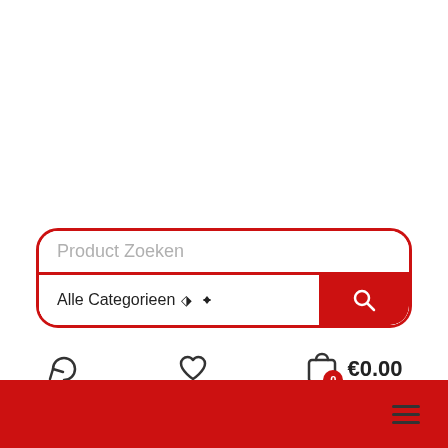[Figure (screenshot): Search bar with placeholder text 'Product Zoeken' and a category dropdown 'Alle Categorieen' with a red search button]
[Figure (infographic): Bottom navigation icons: refresh/compare icon, heart/wishlist icon, shopping bag icon with badge '0' and price '€0.00']
[Figure (infographic): Red footer bar with hamburger menu icon on the right]